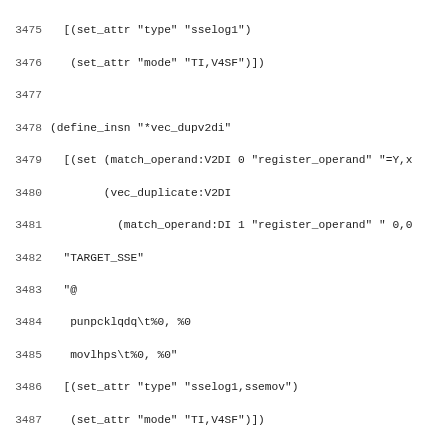Source code listing lines 3475-3506, showing GCC machine description (define_insn) entries for x86 SSE vector instructions including *vec_dupv2di and *sse2_concatv2si and *sse1_concatv2si.